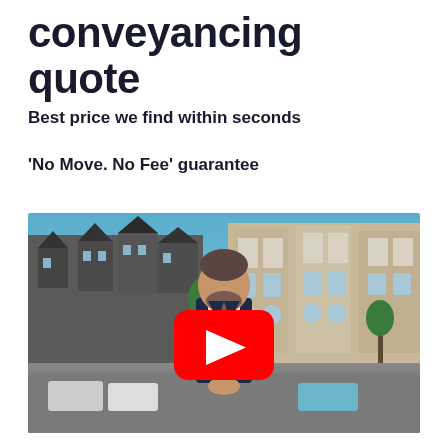conveyancing quote
Best price we find within seconds
'No Move. No Fee' guarantee
[Figure (photo): Video thumbnail showing a man in a navy suit standing on a residential street with Victorian terraced houses in the background, with a YouTube play button overlay]